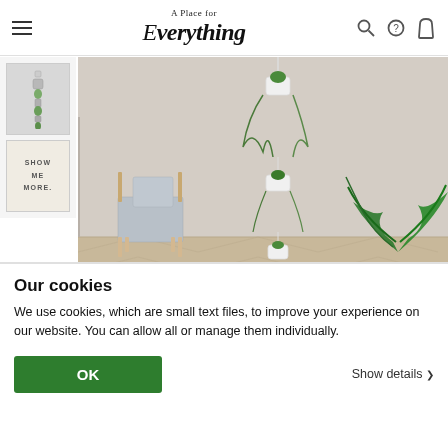A Place for Everything — navigation header with logo, hamburger menu, search, help, and cart icons
[Figure (photo): Two thumbnail images in sidebar: one showing a hanging vertical planter, one showing 'SHOW ME MORE' text on beige background]
[Figure (photo): Main product photo showing an interior room with hanging white wall planters filled with trailing green plants, a monstera plant on a white stand, and a modern chair on herringbone parquet floor]
TELL A FRIEND
SOCIAL SHARE
Our cookies
We use cookies, which are small text files, to improve your experience on our website. You can allow all or manage them individually.
OK
Show details